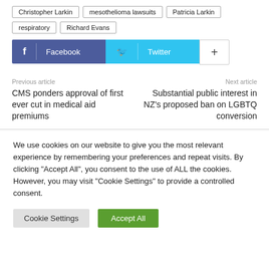Christopher Larkin
mesothelioma lawsuits
Patricia Larkin
respiratory
Richard Evans
[Figure (screenshot): Social share buttons: Facebook, Twitter, and a plus button]
Previous article
CMS ponders approval of first ever cut in medical aid premiums
Next article
Substantial public interest in NZ's proposed ban on LGBTQ conversion
We use cookies on our website to give you the most relevant experience by remembering your preferences and repeat visits. By clicking "Accept All", you consent to the use of ALL the cookies. However, you may visit "Cookie Settings" to provide a controlled consent.
Cookie Settings
Accept All